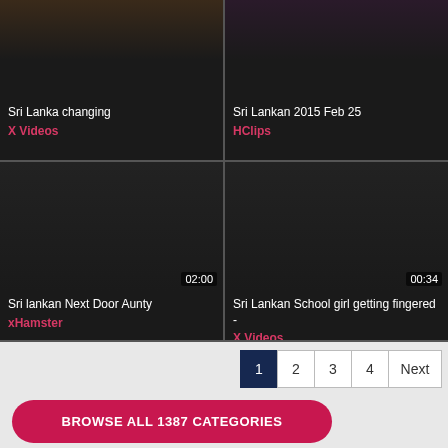[Figure (screenshot): Video thumbnail top-left: Sri Lanka changing, source X Videos]
[Figure (screenshot): Video thumbnail top-right: Sri Lankan 2015 Feb 25, source HClips]
[Figure (screenshot): Video thumbnail bottom-left: Sri Lankan Next Door Aunty 02:00, source xHamster]
[Figure (screenshot): Video thumbnail bottom-right: Sri Lankan School girl getting fingered - 00:34, source X Videos]
1 2 3 4 Next
BROWSE ALL 1387 CATEGORIES
Online Girls
[Figure (photo): Online girls thumbnails at bottom of page]